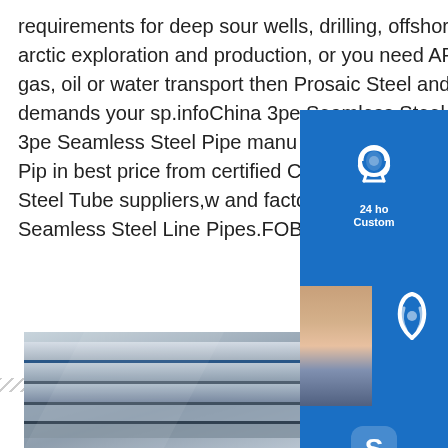requirements for deep sour wells, drilling, offshore drilling and production, arctic exploration and production, or you need API 5L X42 Pipe for natural gas, oil or water transport then Prosaic Steel and Alloys. can meet the demands your sp.infoChina 3pe Seamless Steel Pipe,3pe Steel Pipe China 3pe Seamless Steel Pipe manu Select 2020 high quality 3pe Seamless Steel Pipe in best price from certified Chinese Steel Pipe manufacturers,Stainless Steel Tube suppliers,w and factory on API 5L Gr B 3PE 3PP Fbe Hot Roll Seamless Steel Line Pipes.FOB Price US $ 650-1 Min
[Figure (screenshot): Customer service widget panel with 24-hour support icon, phone/call icon with person photo, and Skype chat icon with Chat Now button]
[Figure (photo): Stack of steel pipes or plates photographed at an angle, showing metallic surfaces]